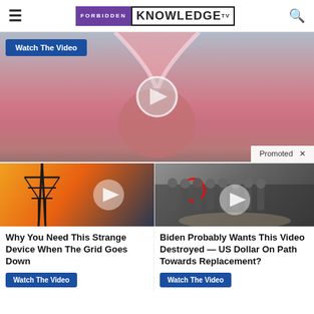Forbidden Knowledge TV
[Figure (screenshot): Promoted medical advertisement banner with 'Watch The Video' button and anatomical illustration, marked as Promoted]
[Figure (screenshot): Video thumbnail: electrical tower with fiery sky]
Why You Need This Strange Device When The Grid Goes Down
Watch The Video
[Figure (screenshot): Video thumbnail: group of men in suits at CIA building]
Biden Probably Wants This Video Destroyed — US Dollar On Path Towards Replacement?
Watch The Video